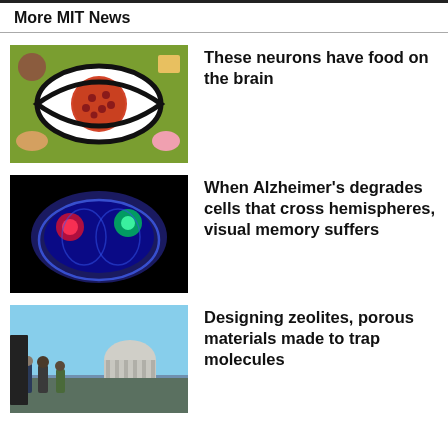More MIT News
[Figure (photo): Illustration of a pizza inside an eye shape surrounded by food items on a green background]
These neurons have food on the brain
[Figure (photo): Fluorescent brain cross-section image showing colored regions on black background]
When Alzheimer’s degrades cells that cross hemispheres, visual memory suffers
[Figure (photo): People standing outside MIT building with dome visible in background]
Designing zeolites, porous materials made to trap molecules